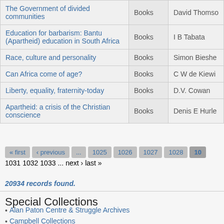| Title | Type | Author |
| --- | --- | --- |
| The Government of divided communities | Books | David Thomso... |
| Education for barbarism: Bantu (Apartheid) education in South Africa | Books | I B Tabata |
| Race, culture and personality | Books | Simon Bieshe... |
| Can Africa come of age? | Books | C W de Kiewi... |
| Liberty, equality, fraternity-today | Books | D.V. Cowan |
| Apartheid: a crisis of the Christian conscience | Books | Denis E Hurle... |
« first ‹ previous ... 1025 1026 1027 1028 10... 1031 1032 1033 ... next › last »
20934 records found.
Special Collections
Alan Paton Centre & Struggle Archives
Campbell Collections